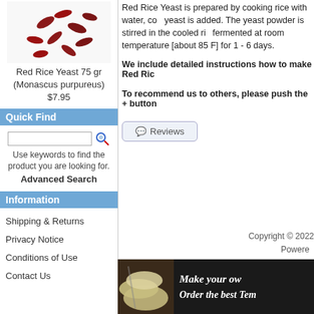[Figure (photo): Red rice yeast grains scattered on white background]
Red Rice Yeast 75 gr
(Monascus purpureus)
$7.95
Quick Find
Use keywords to find the product you are looking for.
Advanced Search
Information
Shipping & Returns
Privacy Notice
Conditions of Use
Contact Us
Red Rice Yeast is prepared by cooking rice with water, co... yeast is added. The yeast powder is stirred in the cooled ri... fermented at room temperature [about 85 F] for 1 - 6 days.
We include detailed instructions how to make Red Ric...
To recommend us to others, please push the + button
Reviews
Copyright © 2022
Powere...
[Figure (photo): Tempeh product image with text: Make your ov... Order the best Tem...]